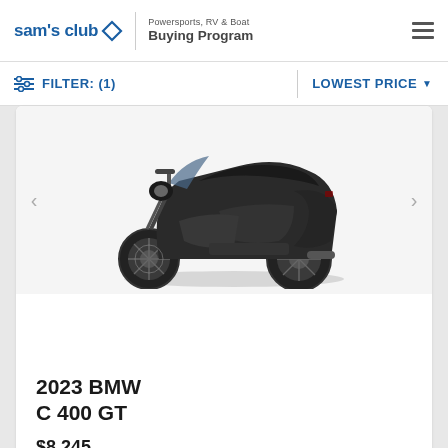sam's club Powersports, RV & Boat Buying Program
FILTER: (1)   LOWEST PRICE
[Figure (photo): A 2023 BMW C 400 GT scooter/motorcycle in dark gray/black color, shown from the side profile view against a white background]
2023 BMW C 400 GT
$8,245
View Details